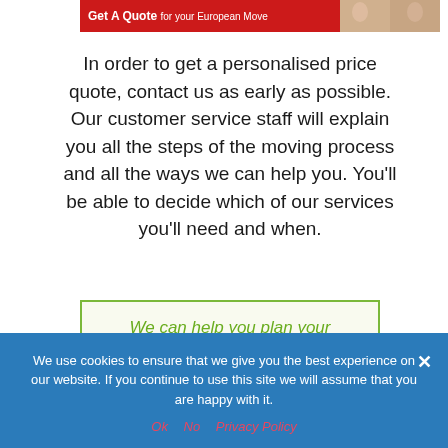[Figure (illustration): Red banner/header graphic reading 'Get A Quote for your European Move' with decorative photos of people on the right side]
In order to get a personalised price quote, contact us as early as possible. Our customer service staff will explain you all the steps of the moving process and all the ways we can help you. You'll be able to decide which of our services you'll need and when.
We can help you plan your
We use cookies to ensure that we give you the best experience on our website. If you continue to use this site we will assume that you are happy with it.
Ok  No  Privacy Policy